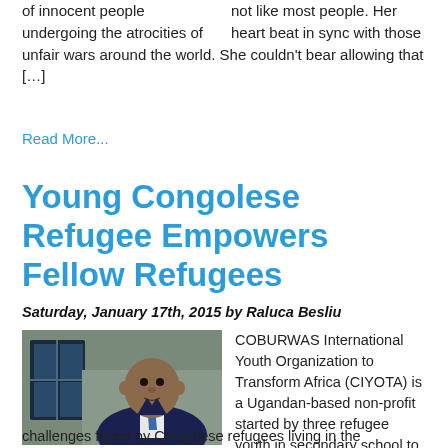not like most people. Her heart beat in sync with those of innocent people undergoing the atrocities of unfair wars around the world. She couldn't bear allowing that […]
Read More...
Young Congolese Refugee Empowers Fellow Refugees
Saturday, January 17th, 2015 by Raluca Besliu
[Figure (photo): Portrait photo of a young man in a suit and tie, standing in front of a building with a blue window]
COBURWAS International Youth Organization to Transform Africa (CIYOTA) is a Ugandan-based non-profit started by three refugee youth in secondary school to address the educational problems and other challenges faced by Congolese refugees living in the Kyangwali